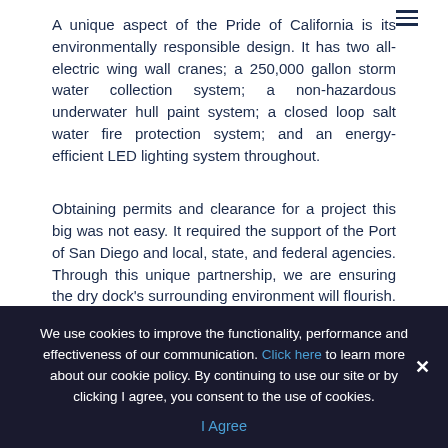A unique aspect of the Pride of California is its environmentally responsible design. It has two all-electric wing wall cranes; a 250,000 gallon storm water collection system; a non-hazardous underwater hull paint system; a closed loop salt water fire protection system; and an energy-efficient LED lighting system throughout.
Obtaining permits and clearance for a project this big was not easy. It required the support of the Port of San Diego and local, state, and federal agencies. Through this unique partnership, we are ensuring the dry dock's surrounding environment will flourish. The dry dock's build process allowed us to develop an environmental habitat that includes the planting of eel grass in San Diego's south bay; hydro-acoustic monitoring of in-water noise during pier construction to protect marine life; establishment of a bird, marine mammal, and green sea turtle monitoring program; and a transportation management program which reduces the yard's traffic impact on
[local communities] [additional text obscured by cookie overlay]